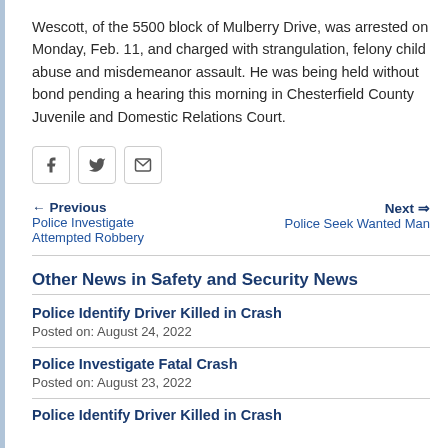Wescott, of the 5500 block of Mulberry Drive, was arrested on Monday, Feb. 11, and charged with strangulation, felony child abuse and misdemeanor assault. He was being held without bond pending a hearing this morning in Chesterfield County Juvenile and Domestic Relations Court.
[Figure (other): Social sharing buttons: Facebook, Twitter, Email]
← Previous
Police Investigate Attempted Robbery
Next ⇒
Police Seek Wanted Man
Other News in Safety and Security News
Police Identify Driver Killed in Crash
Posted on: August 24, 2022
Police Investigate Fatal Crash
Posted on: August 23, 2022
Police Identify Driver Killed in Crash